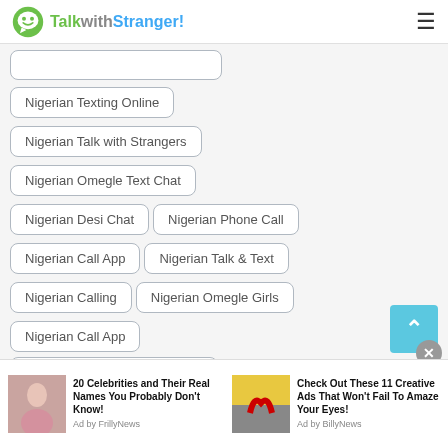TalkwithStranger!
(partial button — cut off at top)
Nigerian Texting Online
Nigerian Talk with Strangers
Nigerian Omegle Text Chat
Nigerian Desi Chat
Nigerian Phone Call
Nigerian Call App
Nigerian Talk & Text
Nigerian Calling
Nigerian Omegle Girls
Nigerian Call App
Nigerian Sites Like Omegle (partial)
[Figure (screenshot): Two advertisement banners at bottom: '20 Celebrities and Their Real Names You Probably Don't Know! Ad by FrillyNews' and 'Check Out These 11 Creative Ads That Won't Fail To Amaze Your Eyes! Ad by BillyNews']